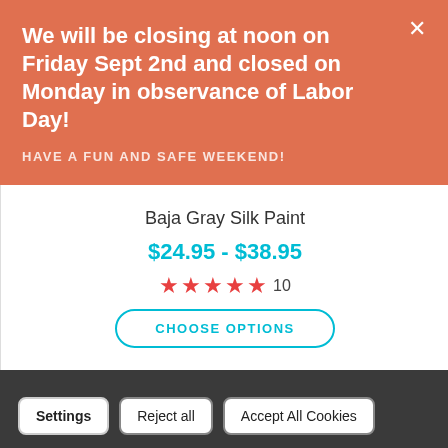We will be closing at noon on Friday Sept 2nd and closed on Monday in observance of Labor Day!
HAVE A FUN AND SAFE WEEKEND!
Baja Gray Silk Paint
$24.95 - $38.95
★★★★★ 10
CHOOSE OPTIONS
We use cookies (and other similar technologies) to collect data to improve your shopping experience. By using our website, you're agreeing to the collection of data as described in our Privacy Policy.
Settings
Reject all
Accept All Cookies